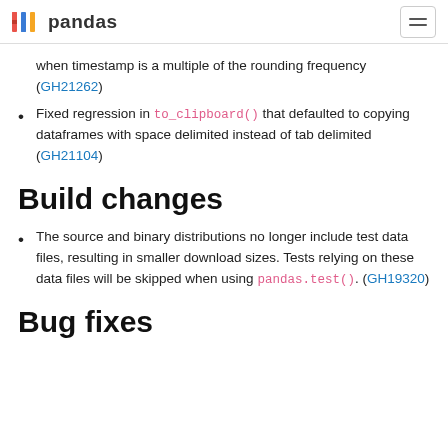pandas
when timestamp is a multiple of the rounding frequency (GH21262)
Fixed regression in to_clipboard() that defaulted to copying dataframes with space delimited instead of tab delimited (GH21104)
Build changes
The source and binary distributions no longer include test data files, resulting in smaller download sizes. Tests relying on these data files will be skipped when using pandas.test(). (GH19320)
Bug fixes